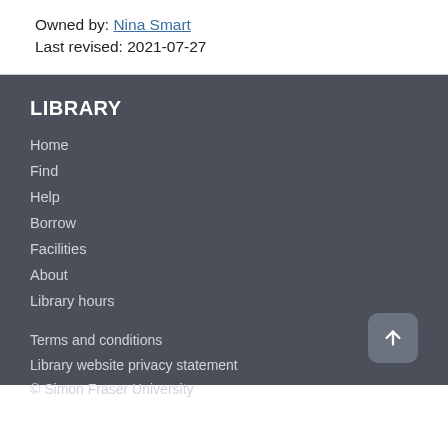Owned by: Nina Smart
Last revised: 2021-07-27
LIBRARY
Home
Find
Help
Borrow
Facilities
About
Library hours
Terms and conditions
Library website privacy statement
© Simon Fraser University
CONNECT